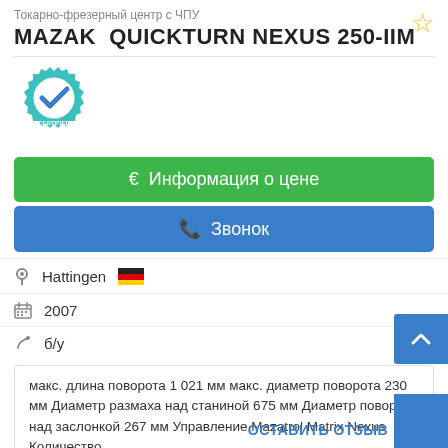Токарно-фрезерный центр с ЧПУ
MAZAK  QUICKTURN NEXUS 250-IIM
[Figure (logo): Certified Dealer badge — teal gear with checkmark and text CERTIFIED DEALER]
€ Информация о цене
✆ Звонок
Hattingen 🇩🇪
2007
б/у
макс. длина поворота 1 021 мм макс. диаметр поворота 230 мм Диаметр размаха над станиной 675 мм Диаметр поворота над заслонкой 267 мм Управление Mazatrol Matrix Nexus Количество
ОСТАВИТЬ ОТЗЫВ